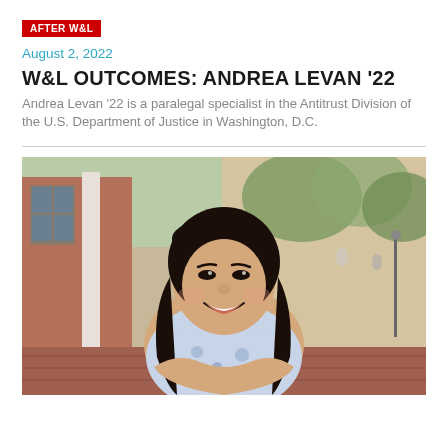AFTER W&L
August 2, 2022
W&L OUTCOMES: ANDREA LEVAN '22
Andrea Levan '22 is a paralegal specialist in the Antitrust Division of the U.S. Department of Justice in Washington, D.C.
[Figure (photo): Portrait photo of Andrea Levan smiling outdoors on a brick-paved campus setting, with a red-brick building and green trees in the background. She has long dark hair and is wearing a floral top.]